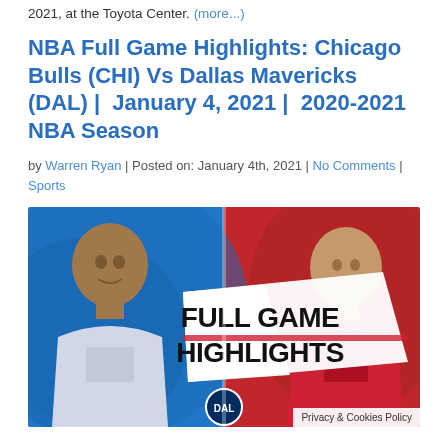2021, at the Toyota Center. (more...)
NBA Full Game Highlights: Chicago Bulls (CHI) Vs Dallas Mavericks (DAL) | January 4, 2021 | 2020-2021 NBA Season
by Warren Ryan | Posted on: January 4th, 2021 | No Comments | Sports
[Figure (photo): Full Game Highlights thumbnail showing two NBA players on blue and red background with text FULL GAME HIGHLIGHTS in the center, and a Mavericks logo at the bottom center.]